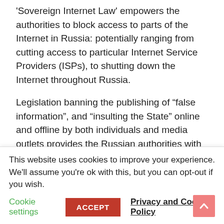'Sovereign Internet Law' empowers the authorities to block access to parts of the Internet in Russia: potentially ranging from cutting access to particular Internet Service Providers (ISPs), to shutting down the Internet throughout Russia.
Legislation banning the publishing of “false information”, and “insulting the State” online and offline by both individuals and media outlets provides the Russian authorities with yet more tools to continue their campaign of stifling and silencing dissent and independent media.
While we welcome the release of investigative
This website uses cookies to improve your experience. We'll assume you're ok with this, but you can opt-out if you wish.
Cookie settings | ACCEPT | Privacy and Cookie Policy